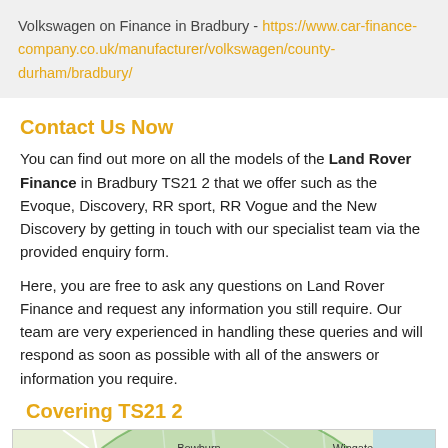Volkswagen on Finance in Bradbury - https://www.car-finance-company.co.uk/manufacturer/volkswagen/county-durham/bradbury/
Contact Us Now
You can find out more on all the models of the Land Rover Finance in Bradbury TS21 2 that we offer such as the Evoque, Discovery, RR sport, RR Vogue and the New Discovery by getting in touch with our specialist team via the provided enquiry form.
Here, you are free to ask any questions on Land Rover Finance and request any information you still require. Our team are very experienced in handling these queries and will respond as soon as possible with all of the answers or information you require.
Covering TS21 2
[Figure (map): Map showing coverage area around TS21 2 including Bowburn, Wingate, Crook, Spennymoor, and A1(M) and A179 roads, with a green semi-circle overlay indicating coverage area.]